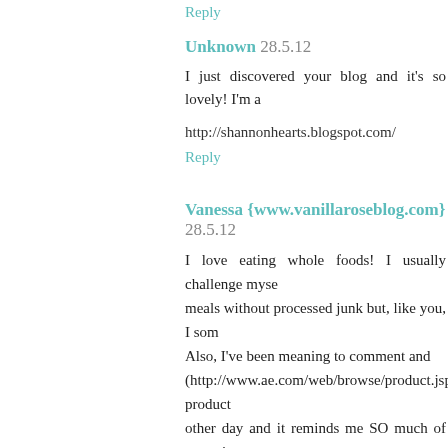Reply
Unknown 28.5.12
I just discovered your blog and it's so lovely! I'm a
http://shannonhearts.blogspot.com/
Reply
Vanessa {www.vanillaroseblog.com} 28.5.12
I love eating whole foods! I usually challenge myse meals without processed junk but, like you, I som Also, I've been meaning to comment and (http://www.ae.com/web/browse/product.jsp?product other day and it reminds me SO much of your site
Reply
To leave a comment, click the button below to sign in with
SIGN IN WITH GOOGLE